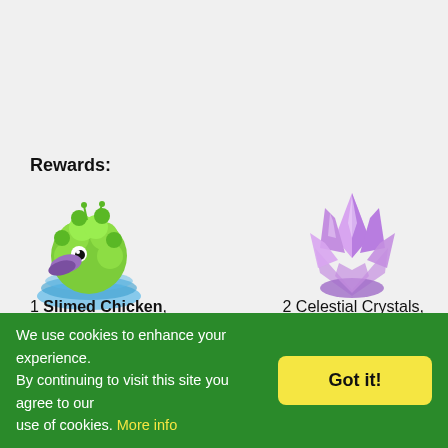Rewards:
[Figure (illustration): Green fluffy slimed chicken sitting on blue wavy platform]
[Figure (illustration): Purple celestial crystal cluster]
1 Slimed Chicken, 2 Celestial Crystals, 150 xp, 3000 coins, 190 gp
Celestial Pastures Chapter 4 Quests 2: FarmVille Spark of Genius
We use cookies to enhance your experience. By continuing to visit this site you agree to our use of cookies. More info